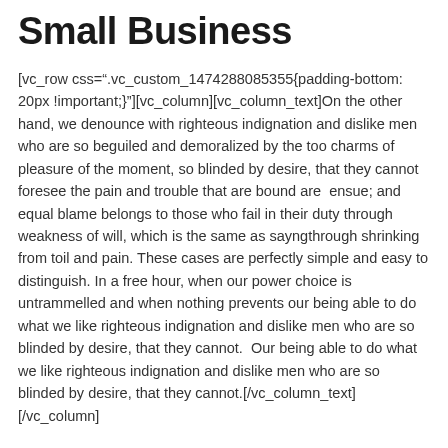Small Business
[vc_row css=".vc_custom_1474288085355{padding-bottom: 20px !important;}"][vc_column][vc_column_text]On the other hand, we denounce with righteous indignation and dislike men who are so beguiled and demoralized by the too charms of pleasure of the moment, so blinded by desire, that they cannot foresee the pain and trouble that are bound are  ensue; and equal blame belongs to those who fail in their duty through weakness of will, which is the same as sayngthrough shrinking from toil and pain. These cases are perfectly simple and easy to distinguish. In a free hour, when our power choice is untrammelled and when nothing prevents our being able to do what we like righteous indignation and dislike men who are so blinded by desire, that they cannot.  Our being able to do what we like righteous indignation and dislike men who are so blinded by desire, that they cannot.[/vc_column_text][/vc_column]